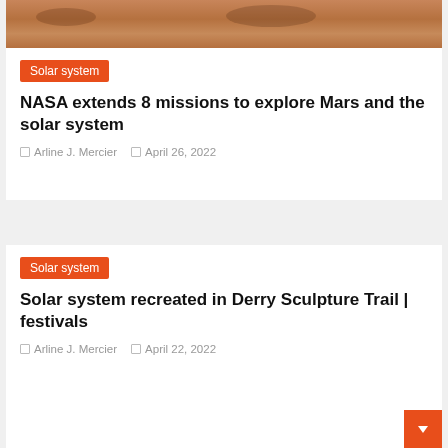[Figure (photo): Mars surface photo showing reddish-brown rocky terrain]
Solar system
NASA extends 8 missions to explore Mars and the solar system
Arline J. Mercier   April 26, 2022
Solar system
Solar system recreated in Derry Sculpture Trail | festivals
Arline J. Mercier   April 22, 2022